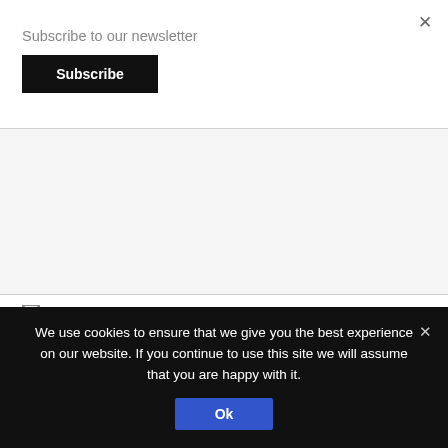Subscribe to our newsletter
Subscribe
Subscribe ▾
We use cookies to ensure that we give you the best experience on our website. If you continue to use this site we will assume that you are happy with it.
Ok